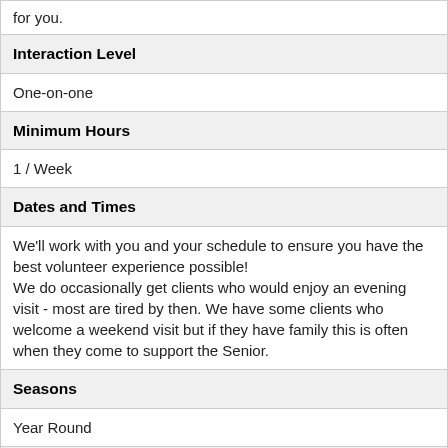for you.
| Interaction Level |
| One-on-one |
| Minimum Hours |
| 1 / Week |
| Dates and Times |
| We'll work with you and your schedule to ensure you have the best volunteer experience possible!
We do occasionally get clients who would enjoy an evening visit - most are tired by then. We have some clients who welcome a weekend visit but if they have family this is often when they come to support the Senior. |
| Seasons |
| Year Round |
| Accessibility |
| Unknown ; Some client homes are accessible for volunteers with a wheelchair/walker. Most client residences are accessible by public transit or your own mode of transportation. |
| Location |